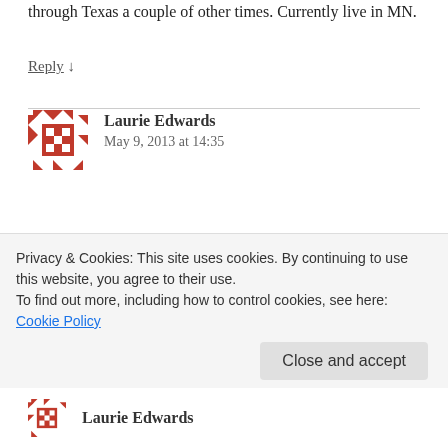through Texas a couple of other times. Currently live in MN.
Reply ↓
Laurie Edwards
May 9, 2013 at 14:35
Was stationed in Texax.....Ft. Sam Houston for training, Combat Medic. I live where I was born......Sunny California. Glad to have heard about this Blog Hop I am always looking for someone I have not read yet and I am looking forward to
Privacy & Cookies: This site uses cookies. By continuing to use this website, you agree to their use.
To find out more, including how to control cookies, see here: Cookie Policy
Close and accept
Laurie Edwards